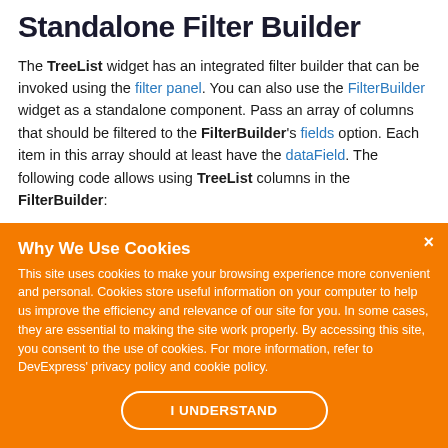Standalone Filter Builder
The TreeList widget has an integrated filter builder that can be invoked using the filter panel. You can also use the FilterBuilder widget as a standalone component. Pass an array of columns that should be filtered to the FilterBuilder's fields option. Each item in this array should at least have the dataField. The following code allows using TreeList columns in the FilterBuilder:
Why We Use Cookies
This site uses cookies to make your browsing experience more convenient and personal. Cookies store useful information on your computer to help us improve the efficiency and relevance of our site for you. In some cases, they are essential to making the site work properly. By accessing this site, you consent to the use of cookies. For more information, refer to DevExpress' privacy policy and cookie policy.
I UNDERSTAND